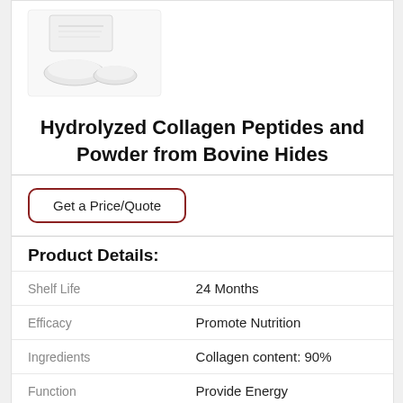[Figure (photo): Product photo of hydrolyzed collagen peptides powder in white dishes with packaging in background]
Hydrolyzed Collagen Peptides and Powder from Bovine Hides
Get a Price/Quote
Product Details:
|  |  |
| --- | --- |
| Shelf Life | 24 Months |
| Efficacy | Promote Nutrition |
| Ingredients | Collagen content: 90% |
| Function | Provide Energy |
| Dosage | 5gram/day |